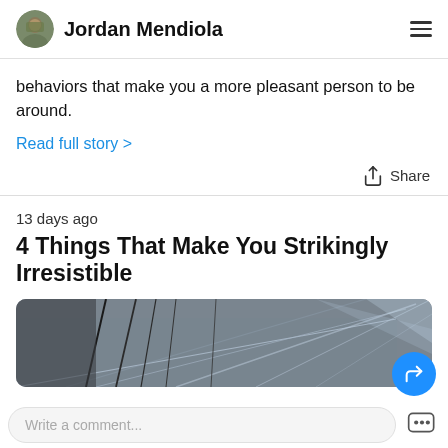Jordan Mendiola
behaviors that make you a more pleasant person to be around.
Read full story >
Share
13 days ago
4 Things That Make You Strikingly Irresistible
[Figure (photo): Gray abstract architectural photo, ceiling with radiating lines and glass panels]
Write a comment...